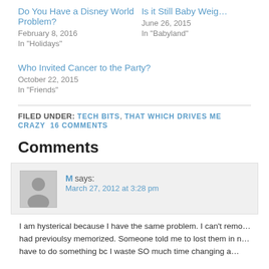Do You Have a Disney World Problem?
February 8, 2016
In "Holidays"
Is it Still Baby Weig…
June 26, 2015
In "Babyland"
Who Invited Cancer to the Party?
October 22, 2015
In "Friends"
FILED UNDER: TECH BITS, THAT WHICH DRIVES ME CRAZY  16 COMMENTS
Comments
M says:
March 27, 2012 at 3:28 pm
I am hysterical because I have the same problem. I can't remo… had previoulsy memorized. Someone told me to lost them in n… have to do something bc I waste SO much time changing a…